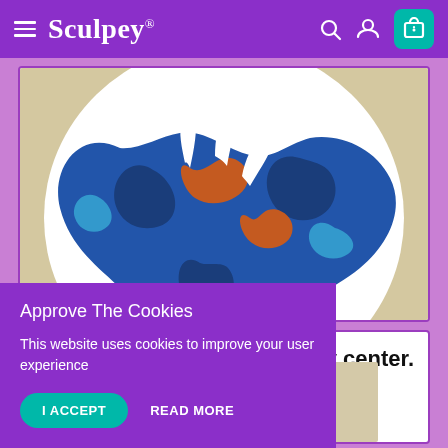Sculpey® — navigation header with hamburger menu, search, user, and cart icons
[Figure (photo): Overhead view of a colorful polymer clay sculpture on a white round plate. The sculpture features blue, orange, and white swirling organic shapes resembling a sea creature or floral form. Background is beige/cream.]
ry center.
[Figure (photo): Partial view of a beige/tan colored item, likely a clay slab or board, in the lower right portion of a white card.]
Approve The Cookies
This website uses cookies to improve your user experience
I ACCEPT
READ MORE